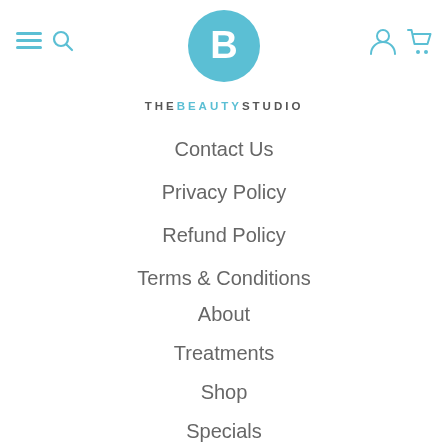[Figure (logo): Teal/light-blue circle with white letter B in center — The Beauty Studio logo]
THE BEAUTY STUDIO
Contact Us
Privacy Policy
Refund Policy
Terms & Conditions
About
Treatments
Shop
Specials
Vouchers